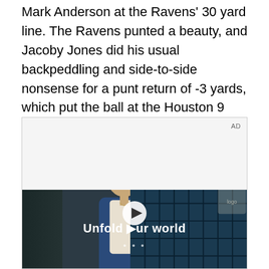Mark Anderson at the Ravens' 30 yard line. The Ravens punted a beauty, and Jacoby Jones did his usual backpeddling and side-to-side nonsense for a punt return of -3 yards, which put the ball at the Houston 9 yard line. Insert the obligatory "Fire Marciano" at your discretion.
[Figure (other): Video advertisement with 'AD' label in upper right, gray top area, and a video frame showing a young man in a denim jacket standing in front of a blue tile grid wall. Overlay text reads 'Unfold your world' with a play button icon and dots pagination indicator.]